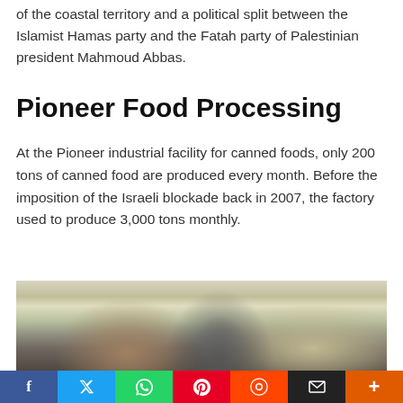of the coastal territory and a political split between the Islamist Hamas party and the Fatah party of Palestinian president Mahmoud Abbas.
Pioneer Food Processing
At the Pioneer industrial facility for canned foods, only 200 tons of canned food are produced every month. Before the imposition of the Israeli blockade back in 2007, the factory used to produce 3,000 tons monthly.
[Figure (photo): Workers inside the Pioneer industrial facility for canned foods, wearing hair nets and work clothes in a yellow-walled factory setting.]
f | Twitter | WhatsApp | Pinterest | Reddit | Email | +